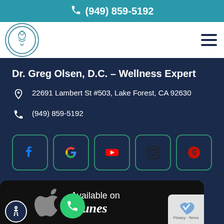(949) 859-5192
[Figure (logo): Circular logo with medical/wellness imagery for Dr. Greg Olsen chiropractic office]
Dr. Greg Olsen, D.C. – Wellness Expert
22691 Lambert St #503, Lake Forest, CA 92630
(949) 859-5192
[Figure (infographic): Row of social media icon buttons: Facebook, Google, YouTube, Instagram, Yelp — each in a green-bordered rounded square]
[Figure (screenshot): App Store download banner showing Apple logo and 'Available on iTunes' text with accessibility button, call button, and privacy/terms badge]